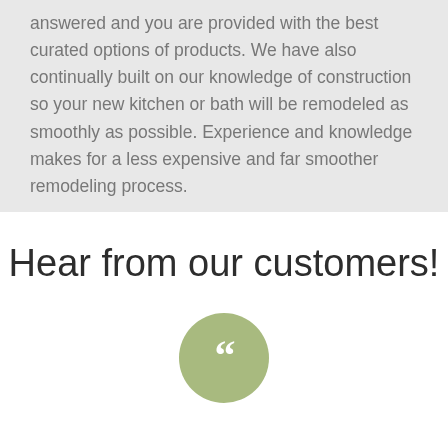answered and you are provided with the best curated options of products. We have also continually built on our knowledge of construction so your new kitchen or bath will be remodeled as smoothly as possible. Experience and knowledge makes for a less expensive and far smoother remodeling process.
Hear from our customers!
[Figure (illustration): A sage green circular button/icon containing a large white quotation mark symbol]